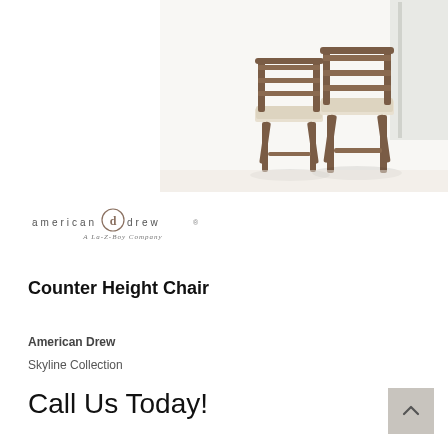[Figure (photo): Two counter height bar chairs with ladder backs and upholstered seats in a light room setting]
[Figure (logo): American Drew logo - A La-Z-Boy Company]
Counter Height Chair
American Drew
Skyline Collection
Call Us Today!